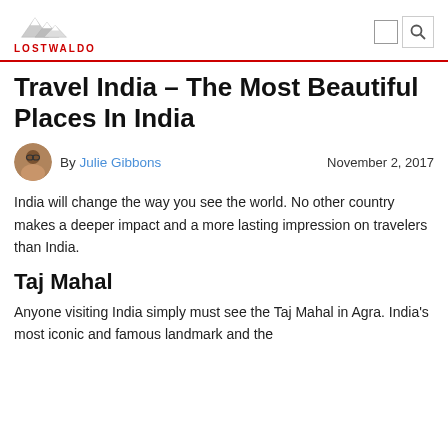LOSTWALDO
Travel India – The Most Beautiful Places In India
By Julie Gibbons   November 2, 2017
India will change the way you see the world. No other country makes a deeper impact and a more lasting impression on travelers than India.
Taj Mahal
Anyone visiting India simply must see the Taj Mahal in Agra. India's most iconic and famous landmark and the